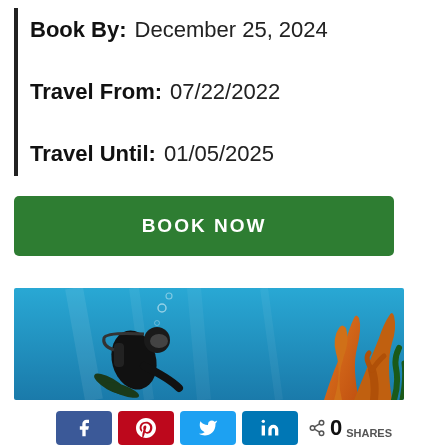Book By:  December 25, 2024
Travel From:  07/22/2022
Travel Until:  01/05/2025
BOOK NOW
[Figure (photo): Underwater photo of a scuba diver in black wetsuit with gear, swimming in blue water near orange coral on the right side]
0 SHARES